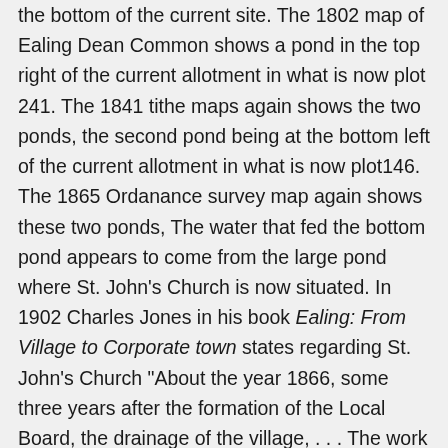the bottom of the current site. The 1802 map of Ealing Dean Common shows a pond in the top right of the current allotment in what is now plot 241. The 1841 tithe maps again shows the two ponds, the second pond being at the bottom left of the current allotment in what is now plot146. The 1865 Ordanance survey map again shows these two ponds, The water that fed the bottom pond appears to come from the large pond where St. John's Church is now situated. In 1902 Charles Jones in his book Ealing: From Village to Corporate town states regarding St. John's Church "About the year 1866, some three years after the formation of the Local Board, the drainage of the village, . . . The work ws entered into heartily so that in 1876 the Church of St. John was complete. The drainage of this land from a pond may have reduced the